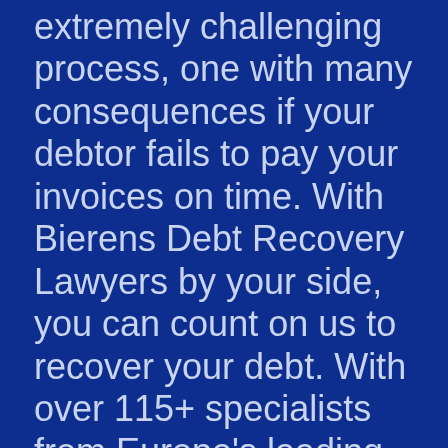extremely challenging process, one with many consequences if your debtor fails to pay your invoices on time. With Bierens Debt Recovery Lawyers by your side, you can count on us to recover your debt. With over 115+ specialists from Europe's leading economies, we solve 95% of national and international cases on a No Cure No Pay basis. While you can focus on resuming your business, our experts will deploy the resources and measures to recover the payment you are entitled to. With more recourses than an average debt collection